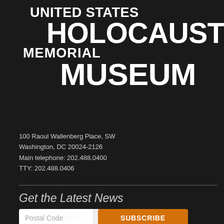UNITED STATES HOLOCAUST MEMORIAL MUSEUM
100 Raoul Wallenberg Place, SW
Washington, DC 20024-2126
Main telephone: 202.488.0400
TTY: 202.488.0406
Get the Latest News
Your e-mail address
Postal Code
SUBSCRIBE